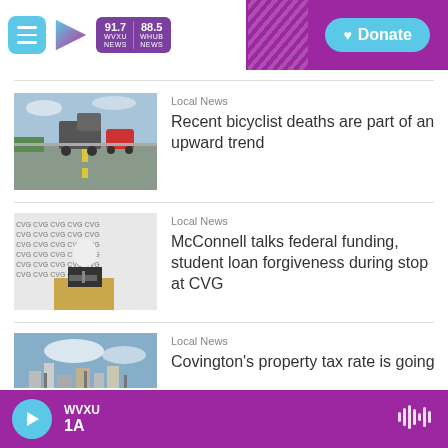WVXU 91.7 NEWS | 88.5 WHUB NEWS | Donate
[Figure (photo): Photo of trucks and vehicles on a highway bridge]
Local News
Recent bicyclist deaths are part of an upward trend
[Figure (photo): Photo of man speaking at podium with CVG logos in background]
Local News
McConnell talks federal funding, student loan forgiveness during stop at CVG
[Figure (photo): Aerial photo of Covington city]
Local News
Covington's property tax rate is going
WVXU 1A